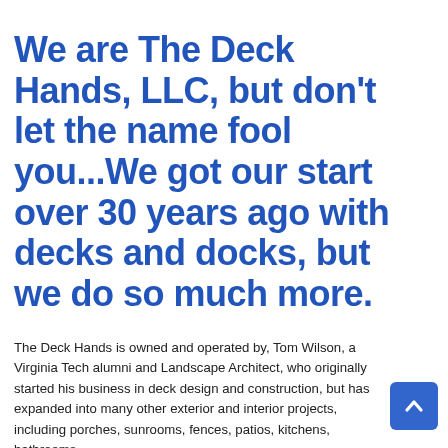We are The Deck Hands, LLC, but don't let the name fool you...We got our start over 30 years ago with decks and docks, but we do so much more.
The Deck Hands is owned and operated by, Tom Wilson, a Virginia Tech alumni and Landscape Architect, who originally started his business in deck design and construction, but has expanded into many other exterior and interior projects, including porches, sunrooms, fences, patios, kitchens, bathrooms,